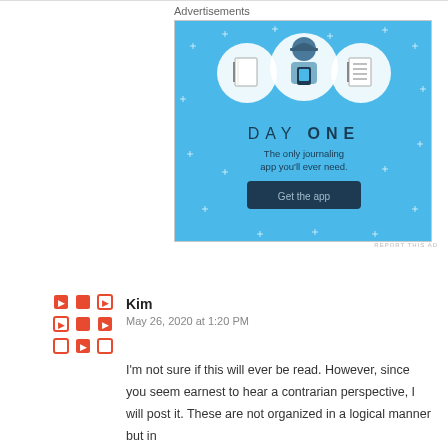Advertisements
[Figure (illustration): Day One journaling app advertisement on a light blue background. Shows three circular icons at top (notebook, person with phone, checklist), large stylized text 'DAY ONE', tagline 'The only journaling app you'll ever need.', and a dark button 'Get the app'. Small plus/sparkle marks scattered around background.]
REPORT THIS AD
Kim
May 26, 2020 at 1:20 PM
I'm not sure if this will ever be read. However, since you seem earnest to hear a contrarian perspective, I will post it. These are not organized in a logical manner but in